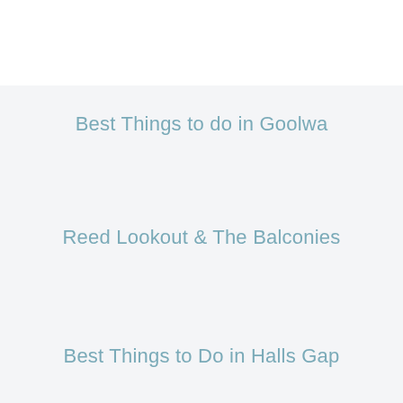Best Things to do in Goolwa
Reed Lookout & The Balconies
Best Things to Do in Halls Gap